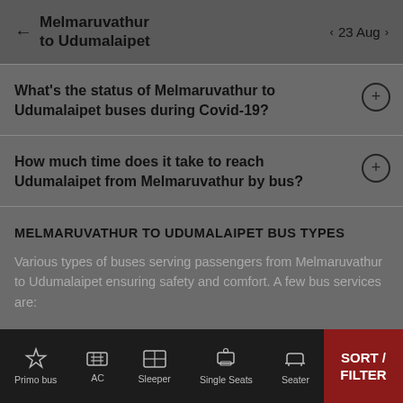Melmaruvathur to Udumalaipet — 23 Aug
What's the status of Melmaruvathur to Udumalaipet buses during Covid-19?
How much time does it take to reach Udumalaipet from Melmaruvathur by bus?
MELMARUVATHUR TO UDUMALAIPET BUS TYPES
Various types of buses serving passengers from Melmaruvathur to Udumalaipet ensuring safety and comfort. A few bus services are:
Primo bus | AC | Sleeper | Single Seats | Seater | SORT / FILTER